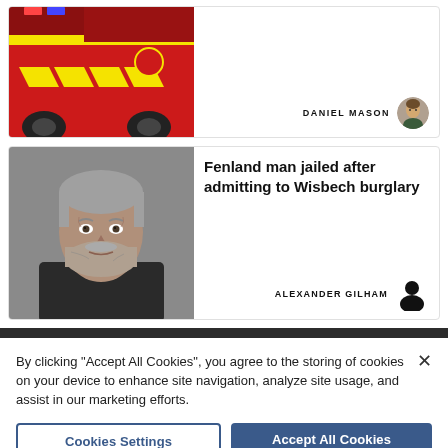[Figure (photo): Red fire truck with yellow chevrons, partial view of the top article card image]
DANIEL MASON
[Figure (photo): Circular avatar photo of Daniel Mason, a young man]
[Figure (photo): Mugshot of a middle-aged man with grey beard and hair, Alexander Gilham]
Fenland man jailed after admitting to Wisbech burglary
ALEXANDER GILHAM
[Figure (illustration): Generic person silhouette icon for Alexander Gilham author]
By clicking “Accept All Cookies”, you agree to the storing of cookies on your device to enhance site navigation, analyze site usage, and assist in our marketing efforts.
Cookies Settings
Accept All Cookies